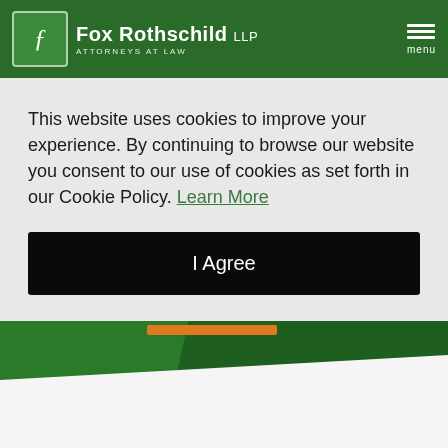Fox Rothschild LLP ATTORNEYS AT LAW
This website uses cookies to improve your experience. By continuing to browse our website you consent to our use of cookies as set forth in our Cookie Policy. Learn More
I Agree
[Figure (illustration): Green decorative background section with diagonal geometric shapes and an orange horizontal bar accent, forming the website hero area background.]